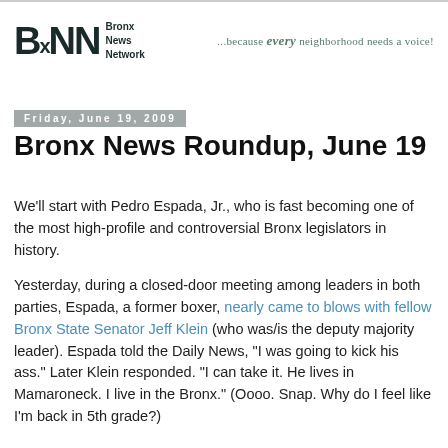BNN Bronx News Network ... because every neighborhood needs a voice!
Friday, June 19, 2009
Bronx News Roundup, June 19
We'll start with Pedro Espada, Jr., who is fast becoming one of the most high-profile and controversial Bronx legislators in history.
Yesterday, during a closed-door meeting among leaders in both parties, Espada, a former boxer, nearly came to blows with fellow Bronx State Senator Jeff Klein (who was/is the deputy majority leader). Espada told the Daily News, "I was going to kick his ass." Later Klein responded. "I can take it. He lives in Mamaroneck. I live in the Bronx." (Oooo. Snap. Why do I feel like I'm back in 5th grade?)